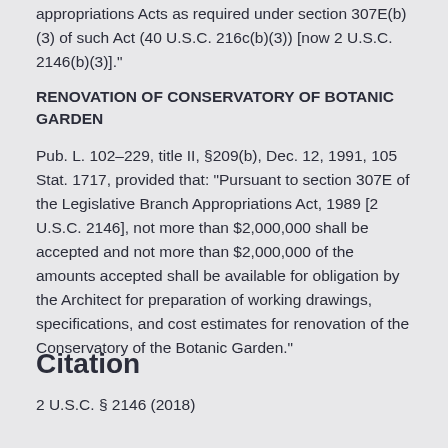appropriations Acts as required under section 307E(b)(3) of such Act (40 U.S.C. 216c(b)(3)) [now 2 U.S.C. 2146(b)(3)]."
RENOVATION OF CONSERVATORY OF BOTANIC GARDEN
Pub. L. 102–229, title II, §209(b), Dec. 12, 1991, 105 Stat. 1717, provided that: "Pursuant to section 307E of the Legislative Branch Appropriations Act, 1989 [2 U.S.C. 2146], not more than $2,000,000 shall be accepted and not more than $2,000,000 of the amounts accepted shall be available for obligation by the Architect for preparation of working drawings, specifications, and cost estimates for renovation of the Conservatory of the Botanic Garden."
Citation
2 U.S.C. § 2146 (2018)